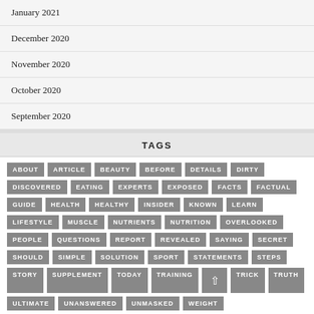January 2021
December 2020
November 2020
October 2020
September 2020
TAGS
ABOUT ARTICLE BEAUTY BEFORE DETAILS DIRTY DISCOVERED EATING EXPERTS EXPOSED FACTS FACTUAL GUIDE HEALTH HEALTHY INSIDER KNOWN LEARN LIFESTYLE MUSCLE NUTRIENTS NUTRITION OVERLOOKED PEOPLE QUESTIONS REPORT REVEALED SAYING SECRET SHOULD SIMPLE SOLUTION SPORT STATEMENTS STEPS STORY SUPPLEMENT TODAY TRAINING TRICK TRUTH ULTIMATE UNANSWERED UNMASKED WEIGHT